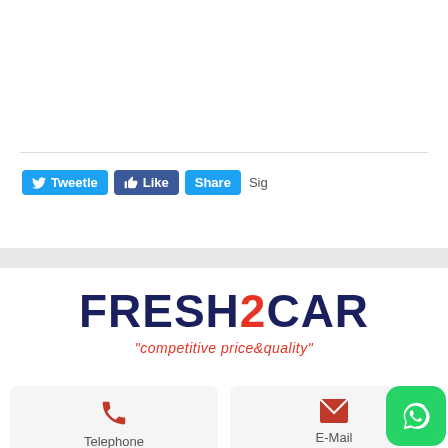[Figure (screenshot): Social sharing buttons: Tweetle (Twitter), Like (Facebook), Share, and Sig text]
[Figure (logo): FRESH2CAR logo with tagline 'competitive price&quality']
Telephone
E-Mail